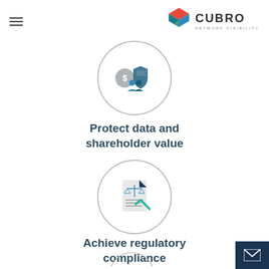[Figure (logo): Cubro Network Visibility logo with geometric cube icon in red, orange, teal, blue colors and text CUBRO NETWORK VISIBILITY]
[Figure (illustration): Circle icon with security/financial imagery: dollar coin, shield, and two people figures in teal and gray]
Protect data and shareholder value
[Figure (illustration): Circle icon with legal/compliance imagery: document with scales of justice and a teal checkmark]
Achieve regulatory compliance
[Figure (illustration): Partially visible circle icon at bottom of page]